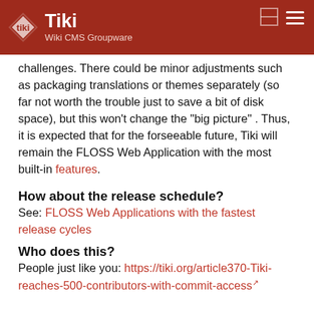Tiki Wiki CMS Groupware
challenges. There could be minor adjustments such as packaging translations or themes separately (so far not worth the trouble just to save a bit of disk space), but this won't change the "big picture" . Thus, it is expected that for the forseeable future, Tiki will remain the FLOSS Web Application with the most built-in features.
How about the release schedule?
See: FLOSS Web Applications with the fastest release cycles
Who does this?
People just like you: https://tiki.org/article370-Tiki-reaches-500-contributors-with-commit-access
There is also a great deal of Interoperability with other applications and services.